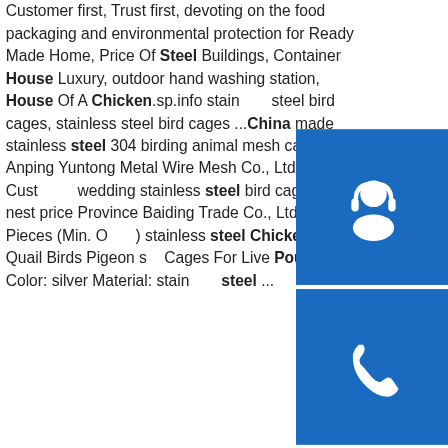Customer first, Trust first, devoting on the food packaging and environmental protection for Ready Made Home, Price Of Steel Buildings, Container House Luxury, outdoor hand washing station, House Of A Chicken.sp.info stainless steel bird cages, stainless steel bird cages ...China made stainless steel 304 birding animal mesh cage Anping Yuntong Metal Wire Mesh Co., Ltd. ... Customer wedding stainless steel bird cage/house nest price Province Baiding Trade Co., Ltd. 10 Pieces (Min. Order) stainless steel Chicken Duck Quail Birds Pigeon s... Cages For Live Poultry Color: silver Material: stainless steel ...
[Figure (other): Blue button with headset/customer service icon]
[Figure (other): Blue button with phone icon]
[Figure (other): Blue button with Skype icon]
China Tunnel Steel, China Tunnel Steel Manufacturers and ...
[Figure (photo): Photo of a steel tower/arch structure against a blue sky with clouds]
U36 channel steel arch structures for tunnel supporting/ U series steel beam arch steel arch